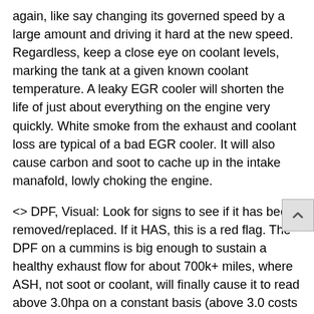again, like say changing its governed speed by a large amount and driving it hard at the new speed. Regardless, keep a close eye on coolant levels, marking the tank at a given known coolant temperature. A leaky EGR cooler will shorten the life of just about everything on the engine very quickly. White smoke from the exhaust and coolant loss are typical of a bad EGR cooler. It will also cause carbon and soot to cache up in the intake manafold, lowly choking the engine.
<> DPF, Visual: Look for signs to see if it has been removed/replaced. If it HAS, this is a red flag. The DPF on a cummins is big enough to sustain a healthy exhaust flow for about 700k+ miles, where ASH, not soot or coolant, will finally cause it to read above 3.0hpa on a constant basis (above 3.0 costs fuel mileage). The only exception to this is if it gets cracked/damaged due to excess road stress or being impacted by road debris (not very common but can happen). Why then is it so common